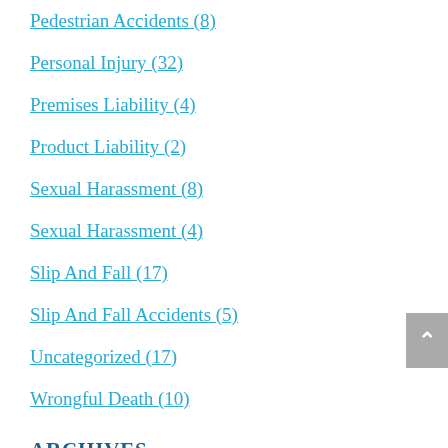Pedestrian Accidents (8)
Personal Injury (32)
Premises Liability (4)
Product Liability (2)
Sexual Harassment (8)
Sexual Harassment (4)
Slip And Fall (17)
Slip And Fall Accidents (5)
Uncategorized (17)
Wrongful Death (10)
ARCHIVES
August 2022 (2)
July 2022 (4)